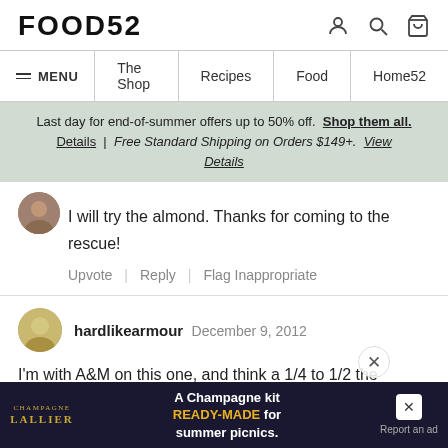FOOD52
≡ MENU   The Shop   Recipes   Food   Home52
Last day for end-of-summer offers up to 50% off. Shop them all. Details | Free Standard Shipping on Orders $149+. View Details
I will try the almond. Thanks for coming to the rescue!
Upvote | Reply | Flag Inappropriate
hardlikearmour   December 9, 2012
I'm with A&M on this one, and think a 1/4 to 1/2 the amount of almond would be lovely with the lemon. I'd also consider doing a second version with lime instead of lemon and coconut instead of
[Figure (screenshot): Advertisement banner for Champagne Lallier: 'A Champagne kit READY-MADE for summer picnics.']